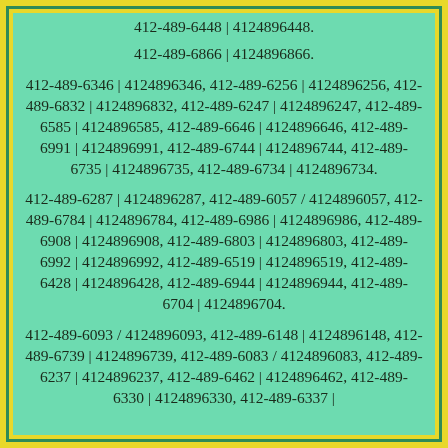412-489-6448 | 4124896448.
412-489-6866 | 4124896866.
412-489-6346 | 4124896346, 412-489-6256 | 4124896256, 412-489-6832 | 4124896832, 412-489-6247 | 4124896247, 412-489-6585 | 4124896585, 412-489-6646 | 4124896646, 412-489-6991 | 4124896991, 412-489-6744 | 4124896744, 412-489-6735 | 4124896735, 412-489-6734 | 4124896734.
412-489-6287 | 4124896287, 412-489-6057 / 4124896057, 412-489-6784 | 4124896784, 412-489-6986 | 4124896986, 412-489-6908 | 4124896908, 412-489-6803 | 4124896803, 412-489-6992 | 4124896992, 412-489-6519 | 4124896519, 412-489-6428 | 4124896428, 412-489-6944 | 4124896944, 412-489-6704 | 4124896704.
412-489-6093 / 4124896093, 412-489-6148 | 4124896148, 412-489-6739 | 4124896739, 412-489-6083 / 4124896083, 412-489-6237 | 4124896237, 412-489-6462 | 4124896462, 412-...